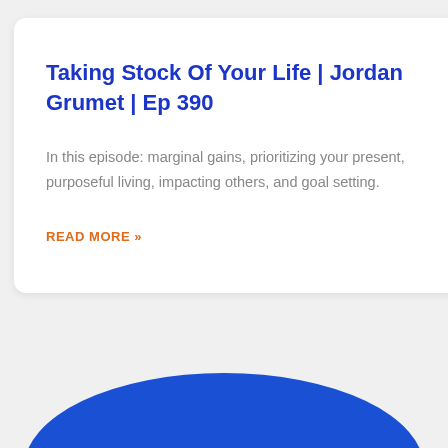Taking Stock Of Your Life | Jordan Grumet | Ep 390
In this episode: marginal gains, prioritizing your present, purposeful living, impacting others, and goal setting.
READ MORE »
[Figure (illustration): Partial blue ellipse or wave shape visible at the bottom of the page against a light gray background]